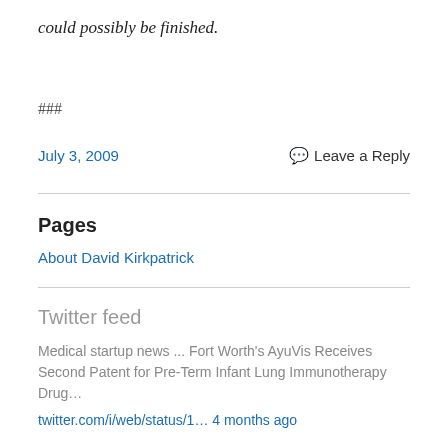could possibly be finished.
###
July 3, 2009
Leave a Reply
Pages
About David Kirkpatrick
Twitter feed
Medical startup news ... Fort Worth's AyuVis Receives Second Patent for Pre-Term Infant Lung Immunotherapy Drug…
twitter.com/i/web/status/1… 4 months ago